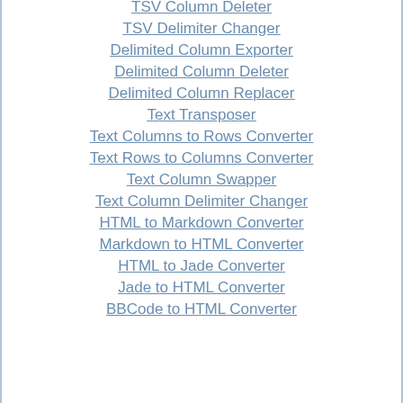TSV Column Deleter
TSV Delimiter Changer
Delimited Column Exporter
Delimited Column Deleter
Delimited Column Replacer
Text Transposer
Text Columns to Rows Converter
Text Rows to Columns Converter
Text Column Swapper
Text Column Delimiter Changer
HTML to Markdown Converter
Markdown to HTML Converter
HTML to Jade Converter
Jade to HTML Converter
BBCode to HTML Converter